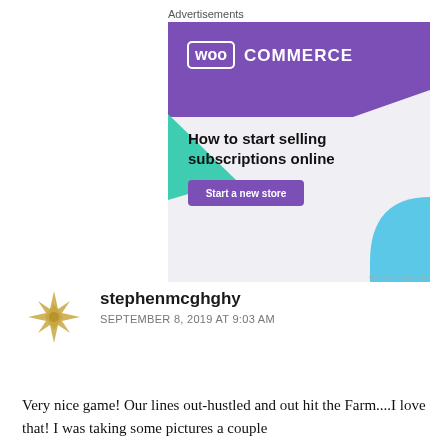Advertisements
[Figure (illustration): WooCommerce advertisement banner with purple header, WooCommerce logo, teal triangle accent, light blue circle accent, headline 'How to start selling subscriptions online', and purple 'Start a new store' button.]
stephenmcghghy
SEPTEMBER 8, 2019 AT 9:03 AM
Very nice game! Our lines out-hustled and out hit the Farm....I love that! I was taking some pictures a couple